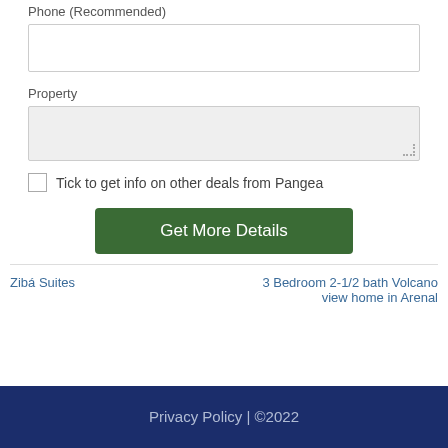Phone (Recommended)
[phone input field]
Property
[property textarea]
Tick to get info on other deals from Pangea
Get More Details
Zibá Suites
3 Bedroom 2-1/2 bath Volcano view home in Arenal
Privacy Policy | ©2022